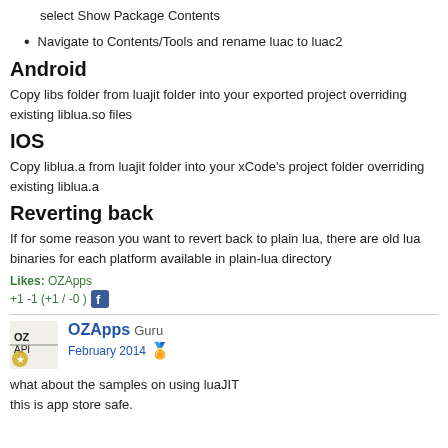select Show Package Contents
Navigate to Contents/Tools and rename luac to luac2
Android
Copy libs folder from luajit folder into your exported project overriding existing liblua.so files
IOS
Copy liblua.a from luajit folder into your xCode's project folder overriding existing liblua.a
Reverting back
If for some reason you want to revert back to plain lua, there are old lua binaries for each platform available in plain-lua directory
Likes: OZApps
+1 -1 (+1 / -0 )
OZApps Guru
February 2014
what about the samples on using luaJIT
this is app store safe.